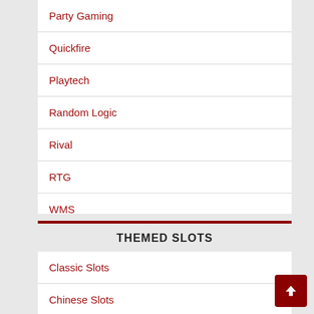Party Gaming
Quickfire
Playtech
Random Logic
Rival
RTG
WMS
THEMED SLOTS
Classic Slots
Chinese Slots